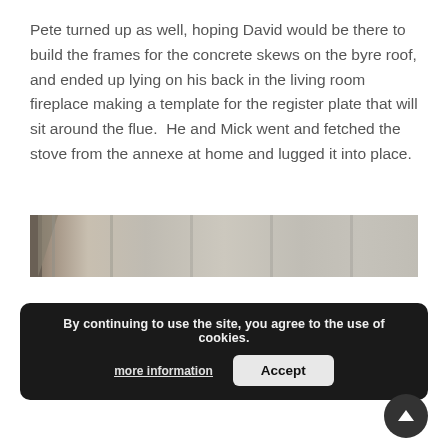Pete turned up as well, hoping David would be there to build the frames for the concrete skews on the byre roof, and ended up lying on his back in the living room fireplace making a template for the register plate that will sit around the flue.  He and Mick went and fetched the stove from the annexe at home and lugged it into place.
[Figure (photo): Partial view of a room interior, showing what appears to be wooden frames or furniture against a wall, in muted brown and beige tones.]
By continuing to use the site, you agree to the use of cookies.
more information  Accept